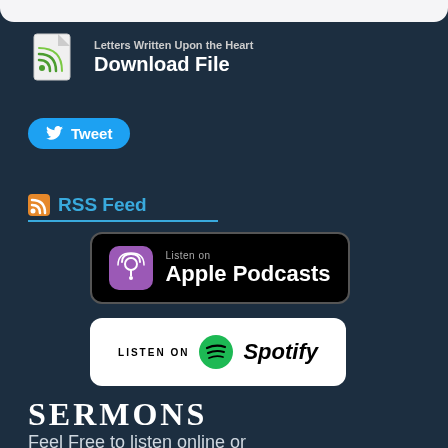[Figure (screenshot): Top white/light bar at the top of the page, partially visible as bottom of a card]
Letters Written Upon the Heart
Download File
[Figure (logo): Download file icon with green RSS waves on a document]
[Figure (logo): Tweet button with Twitter bird icon in blue rounded pill]
RSS Feed
[Figure (logo): Listen on Apple Podcasts badge with purple podcast icon]
[Figure (logo): Listen on Spotify badge with Spotify logo on white background]
SERMONS
Feel Free to listen online or